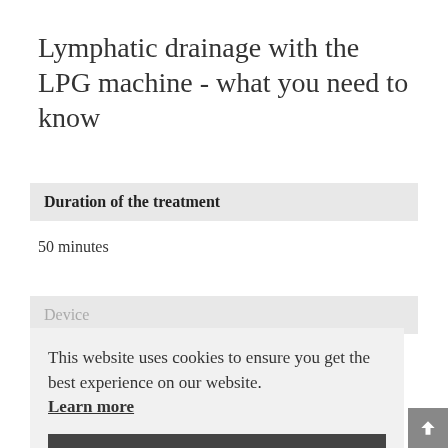Lymphatic drainage with the LPG machine - what you need to know
Duration of the treatment
50 minutes
Device
This website uses cookies to ensure you get the best experience on our website. Learn more
Accept
Sick leave
You may resume your normal work routine and